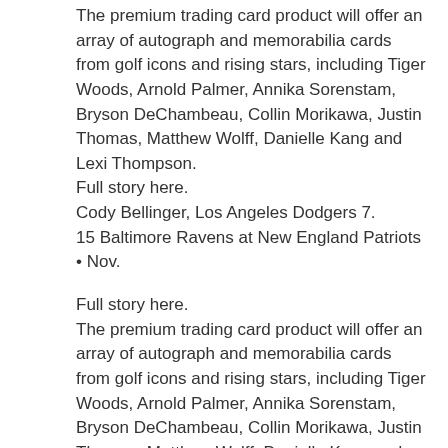The premium trading card product will offer an array of autograph and memorabilia cards from golf icons and rising stars, including Tiger Woods, Arnold Palmer, Annika Sorenstam, Bryson DeChambeau, Collin Morikawa, Justin Thomas, Matthew Wolff, Danielle Kang and Lexi Thompson.
Full story here.
Cody Bellinger, Los Angeles Dodgers 7.
15 Baltimore Ravens at New England Patriots • Nov.
Full story here.
The premium trading card product will offer an array of autograph and memorabilia cards from golf icons and rising stars, including Tiger Woods, Arnold Palmer, Annika Sorenstam, Bryson DeChambeau, Collin Morikawa, Justin Thomas, Matthew Wolff, Danielle Kang and Lexi Thompson.
Chicago Cubs MLB $3B 17.